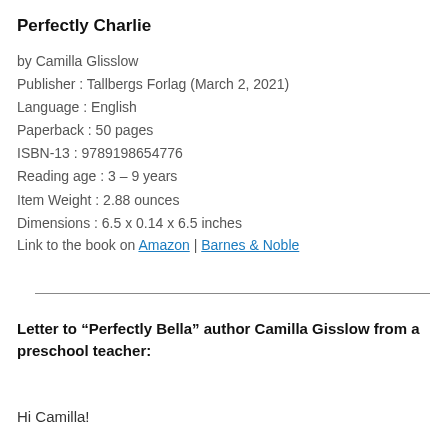Perfectly Charlie
by Camilla Glisslow
Publisher : Tallbergs Forlag (March 2, 2021)
Language : English
Paperback : 50 pages
ISBN-13 : 9789198654776
Reading age : 3 – 9 years
Item Weight : 2.88 ounces
Dimensions : 6.5 x 0.14 x 6.5 inches
Link to the book on Amazon | Barnes & Noble
Letter to “Perfectly Bella” author Camilla Gisslow from a preschool teacher:
Hi Camilla!